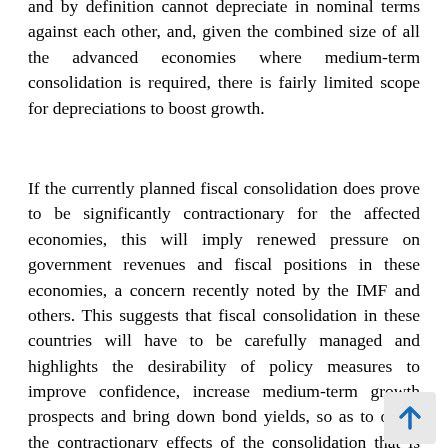and by definition cannot depreciate in nominal terms against each other, and, given the combined size of all the advanced economies where medium-term consolidation is required, there is fairly limited scope for depreciations to boost growth.
If the currently planned fiscal consolidation does prove to be significantly contractionary for the affected economies, this will imply renewed pressure on government revenues and fiscal positions in these economies, a concern recently noted by the IMF and others. This suggests that fiscal consolidation in these countries will have to be carefully managed and highlights the desirability of policy measures to improve confidence, increase medium-term growth prospects and bring down bond yields, so as to offset the contractionary effects of the consolidation that is being undertaken.